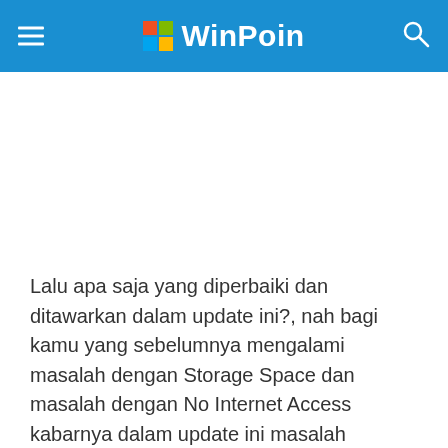WinPoin
Lalu apa saja yang diperbaiki dan ditawarkan dalam update ini?, nah bagi kamu yang sebelumnya mengalami masalah dengan Storage Space dan masalah dengan No Internet Access kabarnya dalam update ini masalah tersebut sudah diperbaiki, dan bagi kamu yang penasaran, berikut adalah changelog lengkap dari